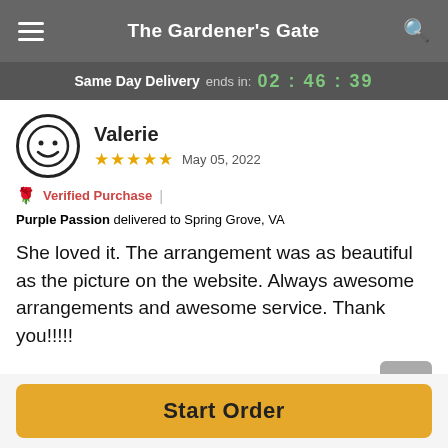The Gardener's Gate
Same Day Delivery ends in: 02 : 46 : 39
Valerie
★★★★★  May 05, 2022
🌹 Verified Purchase  |  Purple Passion delivered to Spring Grove, VA
She loved it. The arrangement was as beautiful as the picture on the website. Always awesome arrangements and awesome service. Thank you!!!!!
Reviews Sourced from Lovingly
You May Also Like
Start Order